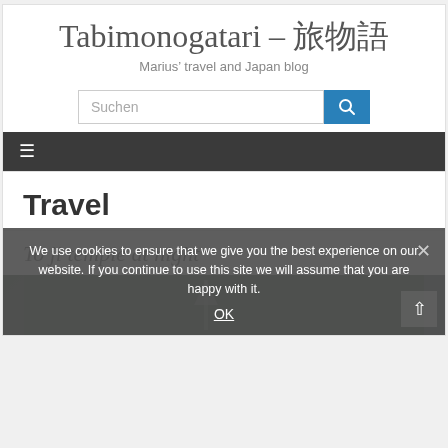Tabimonogatari – 旅物語
Marius' travel and Japan blog
[Figure (screenshot): Search bar with text 'Suchen' and a blue search button with magnifying glass icon]
[Figure (screenshot): Dark navigation bar with hamburger menu icon]
Travel
To ji temple at night
[Figure (photo): Dark nighttime photo of Toji temple]
We use cookies to ensure that we give you the best experience on our website. If you continue to use this site we will assume that you are happy with it.
OK